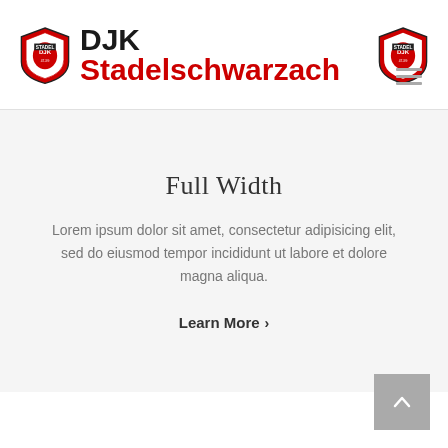DJK Stadelschwarzach
Full Width
Lorem ipsum dolor sit amet, consectetur adipisicing elit, sed do eiusmod tempor incididunt ut labore et dolore magna aliqua.
Learn More >